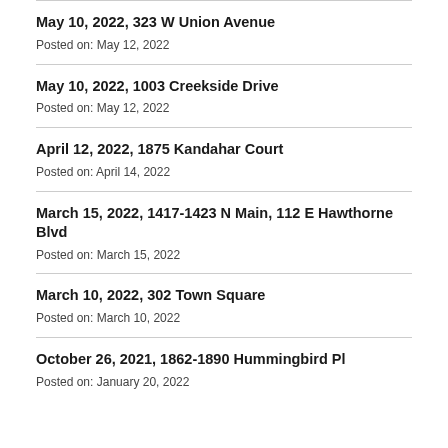May 10, 2022, 323 W Union Avenue
Posted on: May 12, 2022
May 10, 2022, 1003 Creekside Drive
Posted on: May 12, 2022
April 12, 2022, 1875 Kandahar Court
Posted on: April 14, 2022
March 15, 2022, 1417-1423 N Main, 112 E Hawthorne Blvd
Posted on: March 15, 2022
March 10, 2022, 302 Town Square
Posted on: March 10, 2022
October 26, 2021, 1862-1890 Hummingbird Pl
Posted on: January 20, 2022